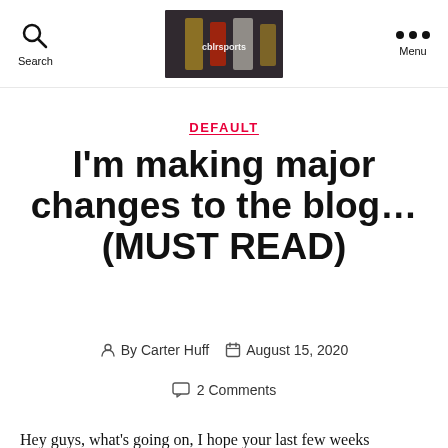cblrsports — Search | Menu
DEFAULT
I'm making major changes to the blog… (MUST READ)
By Carter Huff   August 15, 2020
2 Comments
Hey guys, what's going on, I hope your last few weeks